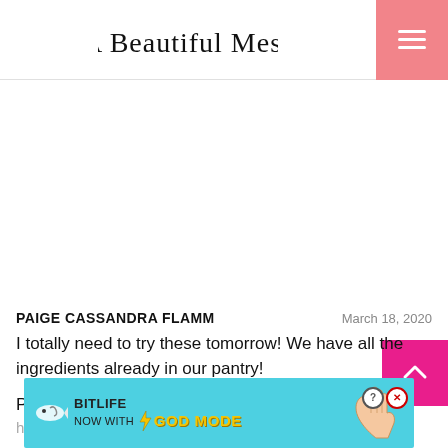A Beautiful Mess
PAIGE CASSANDRA FLAMM
March 18, 2020
I totally need to try these tomorrow! We have all the ingredients already in our pantry!

Paige
http...
[Figure (screenshot): BitLife advertisement banner — 'NOW WITH GOD MODE' with lightning bolt, hand pointer graphic, and control buttons (? and X). Cyan/teal background.]